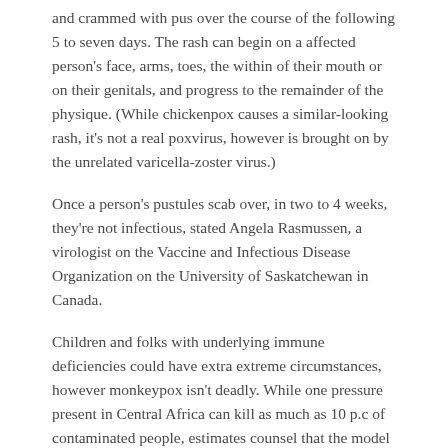and crammed with pus over the course of the following 5 to seven days. The rash can begin on a affected person's face, arms, toes, the within of their mouth or on their genitals, and progress to the remainder of the physique. (While chickenpox causes a similar-looking rash, it's not a real poxvirus, however is brought on by the unrelated varicella-zoster virus.)
Once a person's pustules scab over, in two to 4 weeks, they're not infectious, stated Angela Rasmussen, a virologist on the Vaccine and Infectious Disease Organization on the University of Saskatchewan in Canada.
Children and folks with underlying immune deficiencies could have extra extreme circumstances, however monkeypox isn't deadly. While one pressure present in Central Africa can kill as much as 10 p.c of contaminated people, estimates counsel that the model of the virus at the moment circulating has a fatality price of lower than 1 p.c.
And the simply identifiable rash of monkeypox, in addition to